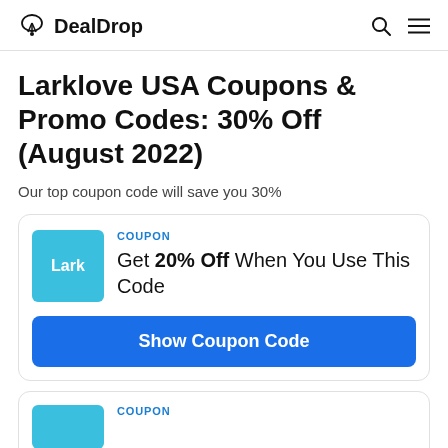DealDrop
Larklove USA Coupons & Promo Codes: 30% Off (August 2022)
Our top coupon code will save you 30%
COUPON
Get 20% Off When You Use This Code
Show Coupon Code
COUPON